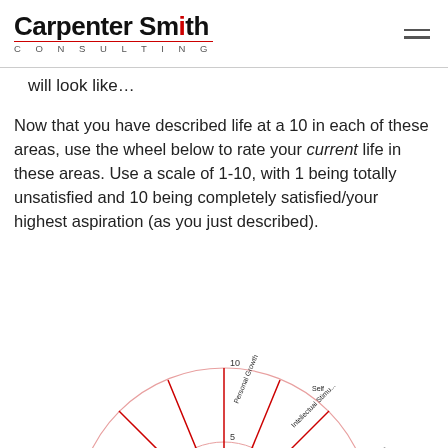Carpenter Smith CONSULTING
will look like…
Now that you have described life at a 10 in each of these areas, use the wheel below to rate your current life in these areas. Use a scale of 1-10, with 1 being totally unsatisfied and 10 being completely satisfied/your highest aspiration (as you just described).
[Figure (other): Wheel of life diagram with segments labeled: Personal Growth, Self, Intellectual Stimulation, Health & Well-Being, Satisfaction in Work, Able to Inspire Others, Leadership, Other. Scale markers at 5 and 10 shown on radial lines. The wheel is drawn with red lines on white background, partially visible at the bottom of the page.]